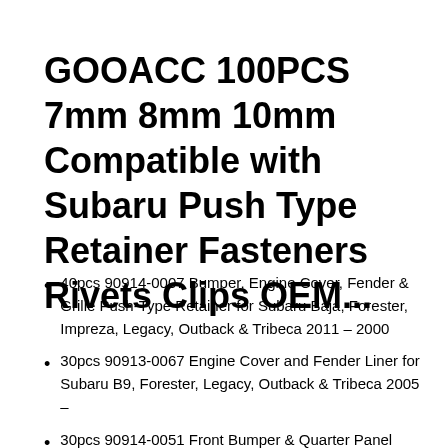GOOACC 100PCS 7mm 8mm 10mm Compatible with Subaru Push Type Retainer Fasteners Rivets Clips OEM...
40pcs 90914-0007 Bumper, Engine Cover, Fender & Grille Push-Type Retainer for Subaru Baja, Forester, Impreza, Legacy, Outback & Tribeca 2011 – 2000
30pcs 90913-0067 Engine Cover and Fender Liner for Subaru B9, Forester, Legacy, Outback & Tribeca 2005 –
30pcs 90914-0051 Front Bumper & Quarter Panel Push-Type Retainer for Subaru Impreza, Legacy, Outback &